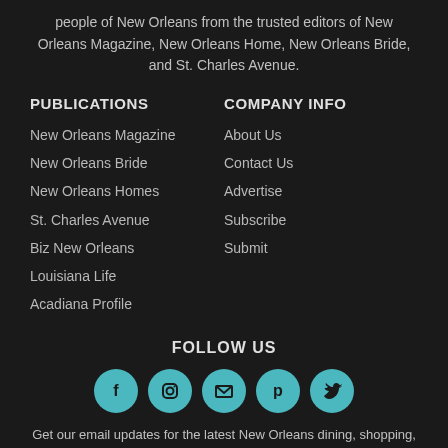people of New Orleans from the trusted editors of New Orleans Magazine, New Orleans Home, New Orleans Bride, and St. Charles Avenue.
PUBLICATIONS
COMPANY INFO
New Orleans Magazine
About Us
New Orleans Bride
Contact Us
New Orleans Homes
Advertise
St. Charles Avenue
Subscribe
Biz New Orleans
Submit
Louisiana Life
Acadiana Profile
FOLLOW US
[Figure (infographic): Five social media icons in teal circles: Facebook, Instagram, Email, Pinterest, Twitter]
Get our email updates for the latest New Orleans dining, shopping, events, culture and more.